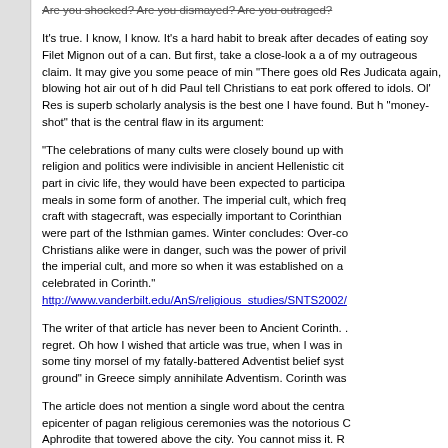Are you shocked? Are you dismayed? Are you outraged?
It's true. I know, I know. It's a hard habit to break after decades of eating soy Filet Mignon out of a can. But first, take a close-look a a summary of my outrageous claim. It may give you some peace of mind. I know: "There goes old Res Judicata again, blowing hot air out of h... did Paul tell Christians to eat pork offered to idols. Ol' Res is... superb scholarly analysis is the best one I have found. But h... "money-shot" that is the central flaw in its argument:
"The celebrations of many cults were closely bound up with religion and politics were indivisible in ancient Hellenistic city... part in civic life, they would have been expected to participa... meals in some form of another. The imperial cult, which freq... craft with stagecraft, was especially important to Corinthian ... were part of the Isthmian games. Winter concludes: Over-co... Christians alike were in danger, such was the power of privil... the imperial cult, and more so when it was established on a... celebrated in Corinth." http://www.vanderbilt.edu/AnS/religious_studies/SNTS2002/
The writer of that article has never been to Ancient Corinth. ... regret. Oh how I wished that article was true, when I was in... some tiny morsel of my fatally-battered Adventist belief syst... ground" in Greece simply annihilate Adventism. Corinth was...
The article does not mention a single word about the centra... epicenter of pagan religious ceremonies was the notorious C... Aphrodite that towered above the city. You cannot miss it. R... meals" were NOT what the Temple of Aphrodite was famous... world's most notorious whorehouse. Here's an accurate sum...